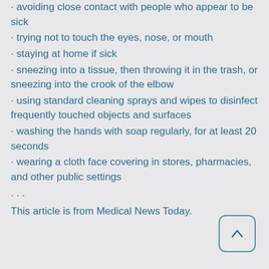avoiding close contact with people who appear to be sick
trying not to touch the eyes, nose, or mouth
staying at home if sick
sneezing into a tissue, then throwing it in the trash, or sneezing into the crook of the elbow
using standard cleaning sprays and wipes to disinfect frequently touched objects and surfaces
washing the hands with soap regularly, for at least 20 seconds
wearing a cloth face covering in stores, pharmacies, and other public settings
· · ·
This article is from Medical News Today.